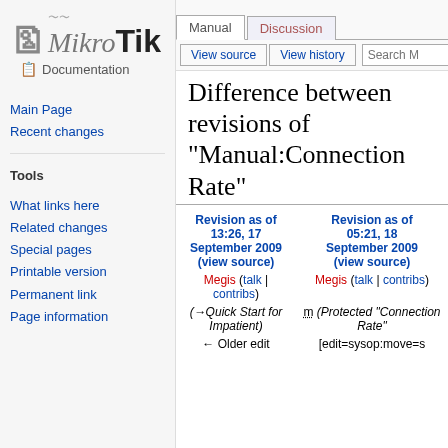[Figure (logo): MikroTik logo with swoosh and Documentation label]
Main Page
Recent changes
Tools
What links here
Related changes
Special pages
Printable version
Permanent link
Page information
Difference between revisions of "Manual:Connection Rate"
| Revision as of 13:26, 17 September 2009 (view source) | Revision as of 05:21, 18 September 2009 (view source) |
| --- | --- |
| Megis (talk | contribs) | Megis (talk | contribs) |
| (→Quick Start for Impatient) | m (Protected "Connection Rate" |
| ← Older edit | [edit=sysop:move=s |